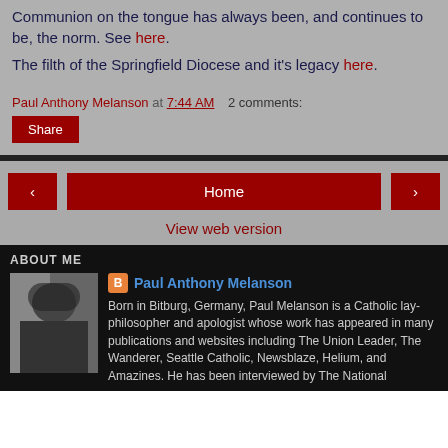Communion on the tongue has always been, and continues to be, the norm. See here.
The filth of the Springfield Diocese and it's legacy here.
Paul Anthony Melanson at 7:44 AM   2 comments:
Share
Home
View web version
ABOUT ME
Paul Anthony Melanson
Born in Bitburg, Germany, Paul Melanson is a Catholic lay-philosopher and apologist whose work has appeared in many publications and websites including The Union Leader, The Wanderer, Seattle Catholic, Newsblaze, Helium, and Amazines. He has been interviewed by The National